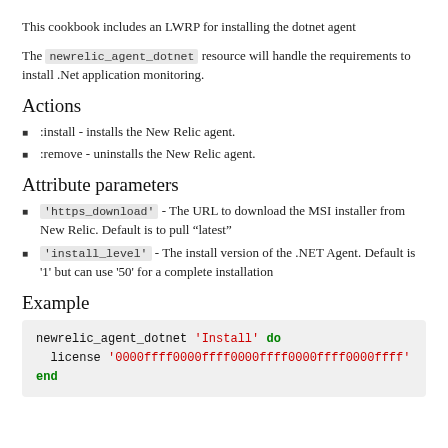This cookbook includes an LWRP for installing the dotnet agent
The newrelic_agent_dotnet resource will handle the requirements to install .Net application monitoring.
Actions
:install - installs the New Relic agent.
:remove - uninstalls the New Relic agent.
Attribute parameters
'https_download' - The URL to download the MSI installer from New Relic. Default is to pull "latest"
'install_level' - The install version of the .NET Agent. Default is '1' but can use '50' for a complete installation
Example
newrelic_agent_dotnet 'Install' do
  license '0000ffff0000ffff0000ffff0000ffff0000ffff'
end